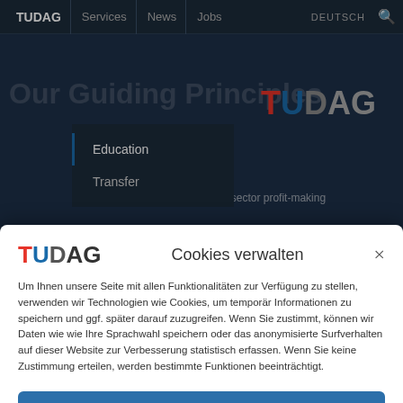TUDAG | Services | News | Jobs | DEUTSCH
[Figure (screenshot): Background website content showing 'Our Guiding Principles' page with TUDAG logo and navigation dropdown showing Education and Transfer items]
Cookies verwalten
Um Ihnen unsere Seite mit allen Funktionalitäten zur Verfügung zu stellen, verwenden wir Technologien wie Cookies, um temporär Informationen zu speichern und ggf. später darauf zuzugreifen. Wenn Sie zustimmt, können wir Daten wie wie Ihre Sprachwahl speichern oder das anonymisierte Surfverhalten auf dieser Website zur Verbesserung statistisch erfassen. Wenn Sie keine Zustimmung erteilen, werden bestimmte Funktionen beeinträchtigt.
Akzeptieren
Ablehnen
Einstellungen